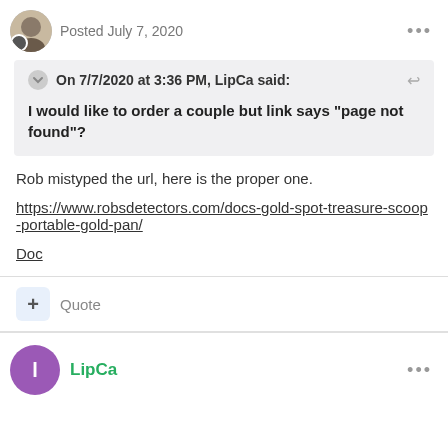Posted July 7, 2020
On 7/7/2020 at 3:36 PM, LipCa said:
I would like to order a couple but link says "page not found"?
Rob mistyped the url, here is the proper one.
https://www.robsdetectors.com/docs-gold-spot-treasure-scoop-portable-gold-pan/
Doc
Quote
LipCa